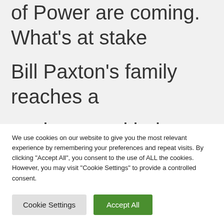of Power are coming. What's at stake Bill Paxton's family reaches a settlement with the hospital… five months after a $1 million
We use cookies on our website to give you the most relevant experience by remembering your preferences and repeat visits. By clicking "Accept All", you consent to the use of ALL the cookies. However, you may visit "Cookie Settings" to provide a controlled consent.
Cookie Settings | Accept All